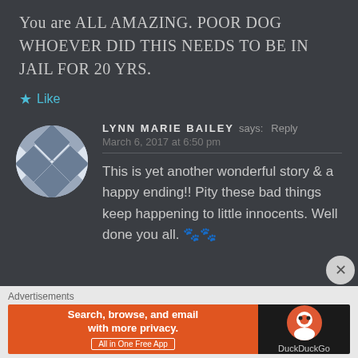You are ALL AMAZING. POOR DOG WHOEVER DID THIS NEEDS TO BE IN JAIL FOR 20 YRS.
★ Like
[Figure (illustration): Avatar icon with geometric diamond/checker pattern in blue-grey and white]
LYNN MARIE BAILEY says: Reply
March 6, 2017 at 6:50 pm
This is yet another wonderful story & a happy ending!! Pity these bad things keep happening to little innocents. Well done you all.
Advertisements
[Figure (screenshot): DuckDuckGo advertisement banner: orange left side with 'Search, browse, and email with more privacy. All in One Free App' text; dark right side with DuckDuckGo logo]